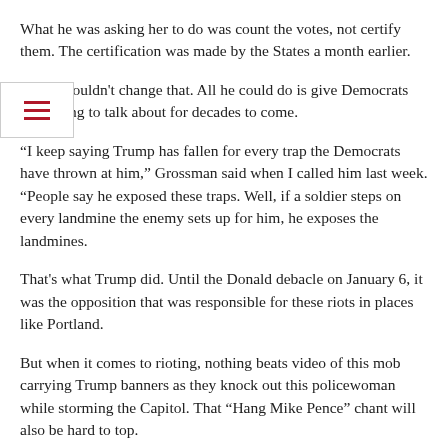What he was asking her to do was count the votes, not certify them. The certification was made by the States a month earlier.
Trump couldn't change that. All he could do is give Democrats something to talk about for decades to come.
“I keep saying Trump has fallen for every trap the Democrats have thrown at him,” Grossman said when I called him last week. “People say he exposed these traps. Well, if a soldier steps on every landmine the enemy sets up for him, he exposes the landmines.
That's what Trump did. Until the Donald debacle on January 6, it was the opposition that was responsible for these riots in places like Portland.
But when it comes to rioting, nothing beats video of this mob carrying Trump banners as they knock out this policewoman while storming the Capitol. That “Hang Mike Pence” chant will also be hard to top.